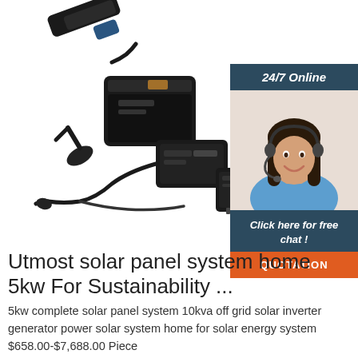[Figure (photo): Product photo showing solar battery charger components: a black battery pack, AC power adapter, cables and connectors on white background. Also shows a person (customer service agent woman with headset smiling) next to a chat widget with '24/7 Online' header, 'Click here for free chat!' text, and an orange QUOTATION button.]
Utmost solar panel system home 5kw For Sustainability ...
5kw complete solar panel system 10kva off grid solar inverter generator power solar system home for solar energy system $658.00-$7,688.00 Piece